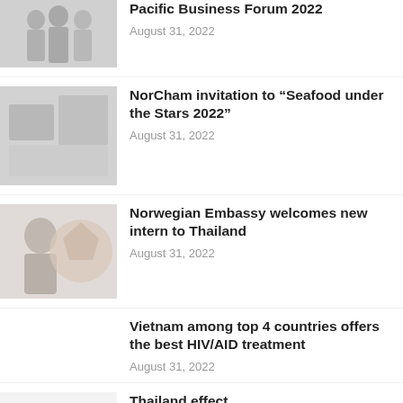[Figure (photo): Thumbnail image of group of people, partially visible at top]
Pacific Business Forum 2022
August 31, 2022
[Figure (photo): Thumbnail image related to NorCham seafood event]
NorCham invitation to “Seafood under the Stars 2022”
August 31, 2022
[Figure (photo): Thumbnail image of person with Norwegian Embassy logo/crest]
Norwegian Embassy welcomes new intern to Thailand
August 31, 2022
Vietnam among top 4 countries offers the best HIV/AID treatment
August 31, 2022
[Figure (photo): Partial thumbnail image at bottom, cut off]
Thailand effect...